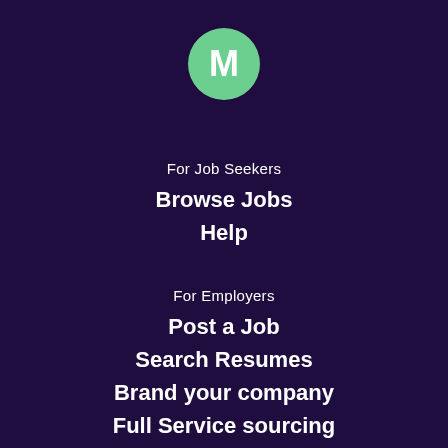[Figure (logo): Green circle with white letter M, representing the company logo]
For Job Seekers
Browse Jobs
Help
For Employers
Post a Job
Search Resumes
Brand your company
Full Service sourcing
Help